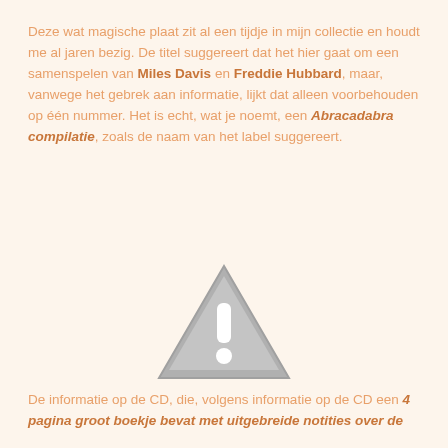Deze wat magische plaat zit al een tijdje in mijn collectie en houdt me al jaren bezig. De titel suggereert dat het hier gaat om een samenspelen van Miles Davis en Freddie Hubbard, maar, vanwege het gebrek aan informatie, lijkt dat alleen voorbehouden op één nummer. Het is echt, wat je noemt, een Abracadabra compilatie, zoals de naam van het label suggereert.
[Figure (illustration): A grey warning/caution triangle icon with an exclamation mark inside, on a light peach background.]
De informatie op de CD, die, volgens informatie op de CD een 4 pagina groot boekje bevat met uitgebreide notities over de